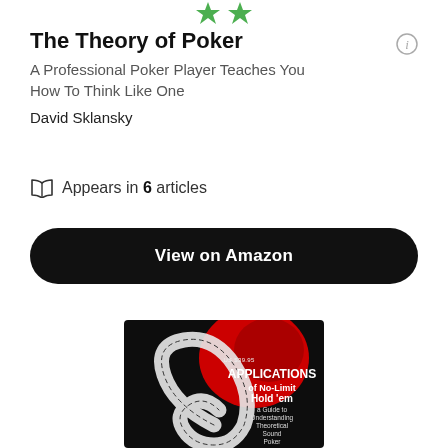[Figure (logo): Two green star/bookmark icons at top center]
The Theory of Poker
A Professional Poker Player Teaches You How To Think Like One
David Sklansky
Appears in 6 articles
View on Amazon
[Figure (photo): Book cover: Applications of No-Limit Hold 'em - a Guide to Understanding Theoretical Sound Poker by Matthew Janda. Black background with red circular design and playing card spiral.]